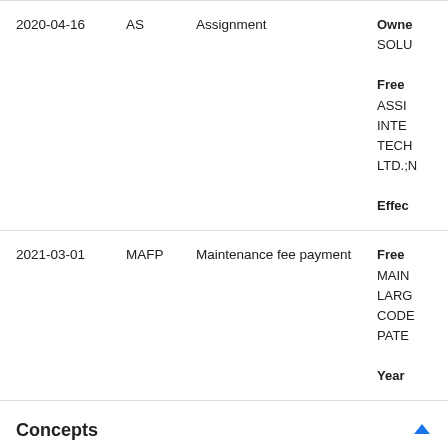| Date | Code | Description | Details |
| --- | --- | --- | --- |
| 2020-04-16 | AS | Assignment | Owner
SOLU

Free
ASSI
INTE
TECH
LTD.;N

Effec |
| 2021-03-01 | MAFP | Maintenance fee payment | Free
MAIN
LARG
CODE
PATE

Year |
Concepts
machine-extracted
Download   Filter table